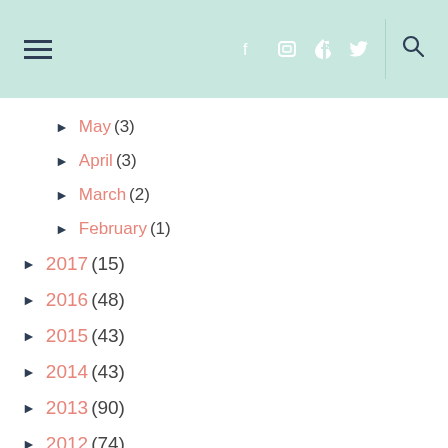Navigation header with hamburger menu, social icons (f, camera, p, twitter), search icon
May (3)
April (3)
March (2)
February (1)
2017 (15)
2016 (48)
2015 (43)
2014 (43)
2013 (90)
2012 (74)
2011 (45)
2010 (104)
2009 (47)